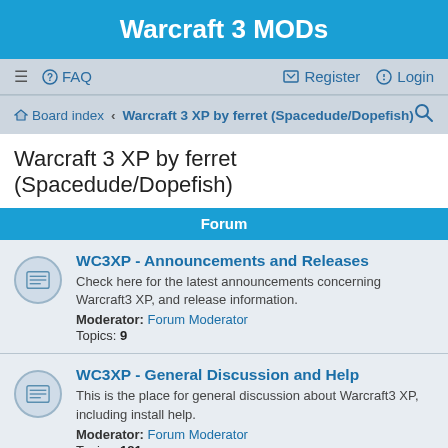Warcraft 3 MODs
≡  FAQ    Register  Login
Board index  ·  Warcraft 3 XP by ferret (Spacedude/Dopefish)   🔍
Warcraft 3 XP by ferret (Spacedude/Dopefish)
Forum
WC3XP - Announcements and Releases
Check here for the latest announcements concerning Warcraft3 XP, and release information.
Moderator: Forum Moderator
Topics: 9
WC3XP - General Discussion and Help
This is the place for general discussion about Warcraft3 XP, including install help.
Moderator: Forum Moderator
Topics: 181
WC3XP - Suggestions / Ideas
This is the place to make suggestions for Warcraft3 XP.
Moderator: Forum Moderator
Topics: 16
WC3XP - Bug Feedback
Post here to report bugs in Warcraft3 XP. Please read the sticky.
Moderator: Forum Moderator
Topics: 28